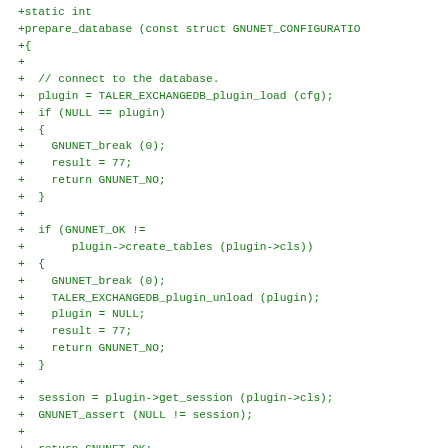Code diff showing prepare_database function in C with GNUnet/TALER database plugin loading, table creation, and session initialization.